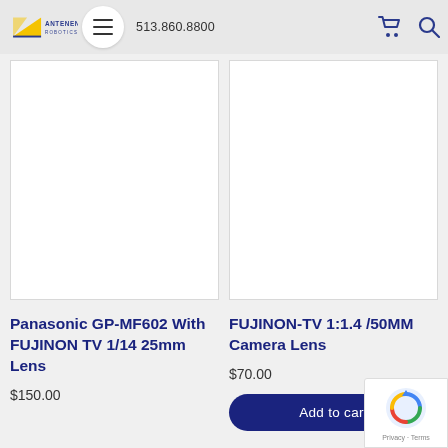[Figure (screenshot): Antenen Robotics website header navigation bar with logo, hamburger menu button, phone number 513.860.8800, shopping cart icon, and search icon]
[Figure (photo): Product image placeholder for Panasonic GP-MF602 With FUJINON TV 1/14 25mm Lens (white/blank product area)]
[Figure (photo): Product image placeholder for FUJINON-TV 1:1.4/50MM Camera Lens (white/blank product area)]
Panasonic GP-MF602 With FUJINON TV 1/14 25mm Lens
$150.00
FUJINON-TV 1:1.4 /50MM Camera Lens
$70.00
Add to cart